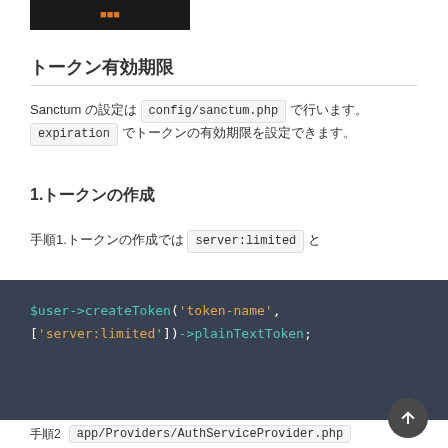[Figure (screenshot): Dark banner image with orange/yellow text showing code or logo]
トークン有効期限
Sanctum の設定は config/sanctum.php で行います。expiration でトークンの有効期限を設定できます。
1.トークンの作成
手順1.トークンの作成では server:limited と
[Figure (screenshot): Code block on dark background showing: $user->createToken('token-name', ['server:limited'])->plainTextToken;]
手順2  app/Providers/AuthServiceProvider.php